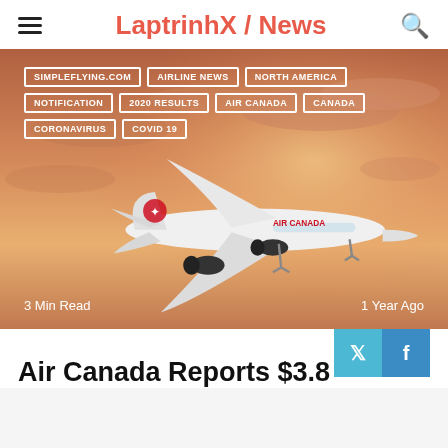LaptrinhX / News
[Figure (photo): Air Canada Airbus A220 aircraft in flight against an orange-pink sunset sky, with overlay tags: SIMPLEFLYING.COM, AIRLINE NEWS, NORTH AMERICA, NOTIFICATION, 2020 RESULTS, AIR CANADA, CANADA, CORONAVIRUS, COVID 19. Bottom left: '3 Min Read'. Bottom right: '1 Year Ago'.]
Air Canada Reports $3.8